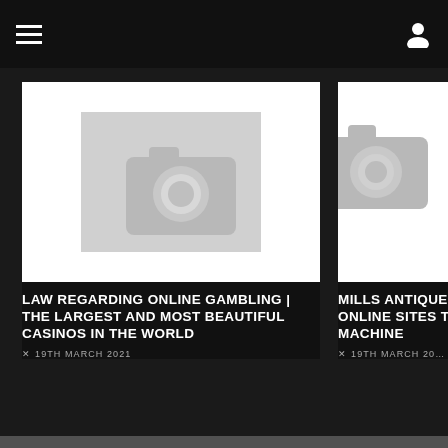Navigation bar with hamburger menu and user icon
[Figure (photo): Placeholder image with camera icon for article about law regarding online gambling]
LAW REGARDING ONLINE GAMBLING | THE LARGEST AND MOST BEAUTIFUL CASINOS IN THE WORLD
19TH MARCH 2021
[Figure (photo): Partially visible placeholder image with camera icon for Mills Antique article]
MILLS ANTIQUE ONLINE SITES TO MACHINE
19TH MARCH 2021